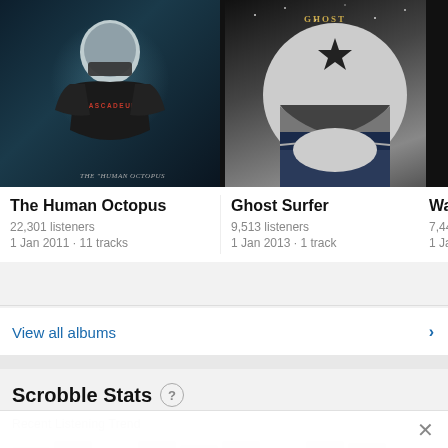[Figure (photo): Album cover for The Human Octopus by Cascadeur – dark moody image of a person in a motorcycle helmet from behind with text on jacket]
[Figure (photo): Album cover for Ghost Surfer – black and white image of a smiley-face helmet with a star, surreal landscape below]
[Figure (photo): Album cover partially visible on the right edge – dark background]
The Human Octopus
22,301 listeners
1 Jan 2011 · 11 tracks
Ghost Surfer
9,513 listeners
1 Jan 2013 · 1 track
Walk
7,444
1 Jan
View all albums
Scrobble Stats
Recent Listening Trend